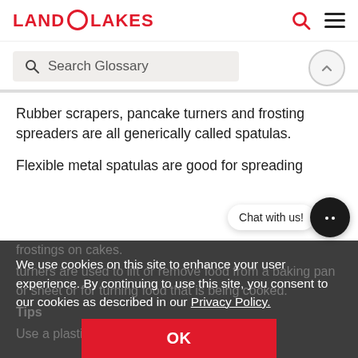LAND O LAKES
Search Glossary
Rubber scrapers, pancake turners and frosting spreaders are all generically called spatulas.
Flexible metal spatulas are good for spreading frostings on cakes.
turners are used to lift or remove food from a baking pan or sheet or for turning food that is being cooked.
Tips
Use a plastic turner on a non stick baking pan
We use cookies on this site to enhance your user experience. By continuing to use this site, you consent to our cookies as described in our Privacy Policy.
OK